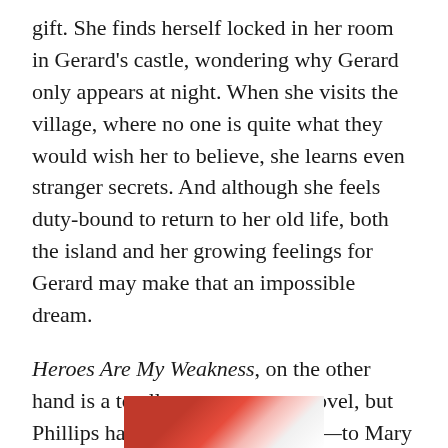gift. She finds herself locked in her room in Gerard's castle, wondering why Gerard only appears at night. When she visits the village, where no one is quite what they would wish her to believe, she learns even stranger secrets. And although she feels duty-bound to return to her old life, both the island and her growing feelings for Gerard may make that an impossible dream.
Heroes Are My Weakness, on the other hand is a totally contemporary novel, but Phillips had me at the dedication—to Mary Stewart, Anya Seton, Charlotte Bronte, Daphne du Maurier, Victoria Holt, and Phyllis Whitney. Despite the fact that the
[Figure (photo): Partial image visible at the bottom of the page, showing red and white colors, likely a book cover.]